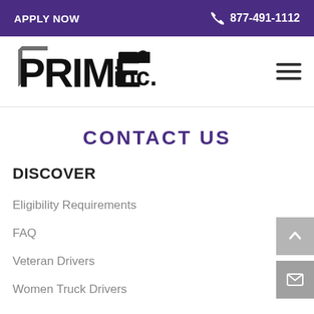APPLY NOW   877-491-1112
[Figure (logo): PRIME inc. logo in bold black block letters with 3D shadow effect]
CONTACT US
DISCOVER
Eligibility Requirements
FAQ
Veteran Drivers
Women Truck Drivers